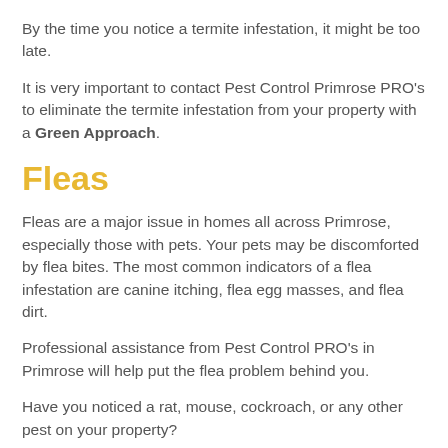By the time you notice a termite infestation, it might be too late.
It is very important to contact Pest Control Primrose PRO's to eliminate the termite infestation from your property with a Green Approach.
Fleas
Fleas are a major issue in homes all across Primrose, especially those with pets. Your pets may be discomforted by flea bites. The most common indicators of a flea infestation are canine itching, flea egg masses, and flea dirt.
Professional assistance from Pest Control PRO's in Primrose will help put the flea problem behind you.
Have you noticed a rat, mouse, cockroach, or any other pest on your property?